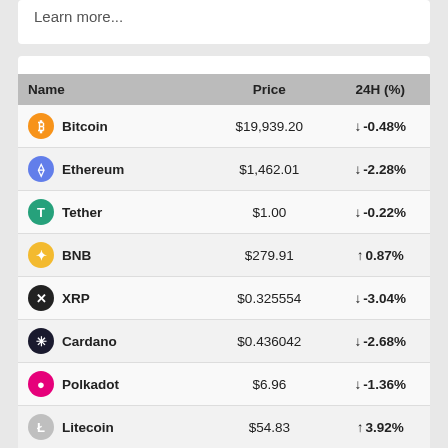Learn more...
| Name | Price | 24H (%) |
| --- | --- | --- |
| Bitcoin | $19,939.20 | ↓ -0.48% |
| Ethereum | $1,462.01 | ↓ -2.28% |
| Tether | $1.00 | ↓ -0.22% |
| BNB | $279.91 | ↑ 0.87% |
| XRP | $0.325554 | ↓ -3.04% |
| Cardano | $0.436042 | ↓ -2.68% |
| Polkadot | $6.96 | ↓ -1.36% |
| Litecoin | $54.83 | ↑ 3.92% |
| Chainlink | $6.38 | ↓ -1.63% |
| Bitcoin Cash | $116.67 | ↑ 0.84% |